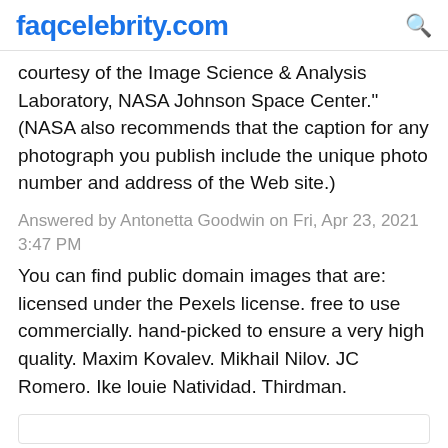faqcelebrity.com
courtesy of the Image Science & Analysis Laboratory, NASA Johnson Space Center." (NASA also recommends that the caption for any photograph you publish include the unique photo number and address of the Web site.)
Answered by Antonetta Goodwin on Fri, Apr 23, 2021 3:47 PM
You can find public domain images that are: licensed under the Pexels license. free to use commercially. hand-picked to ensure a very high quality. Maxim Kovalev. Mikhail Nilov. JC Romero. Ike louie Natividad. Thirdman.